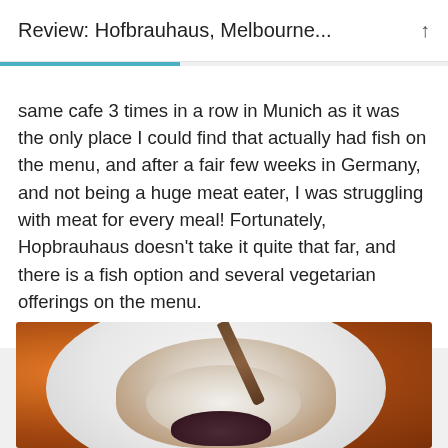Review: Hofbrauhaus, Melbourne...
same cafe 3 times in a row in Munich as it was the only place I could find that actually had fish on the menu, and after a fair few weeks in Germany, and not being a huge meat eater, I was struggling with meat for every meal! Fortunately, Hopbrauhaus doesn't take it quite that far, and there is a fish option and several vegetarian offerings on the menu.
[Figure (photo): A plate of sliced roasted meat (likely pork or chicken) with dark filling visible, on a white plate, with a knife resting on the plate. Warm orange/brown tones in the background suggesting a wooden table.]